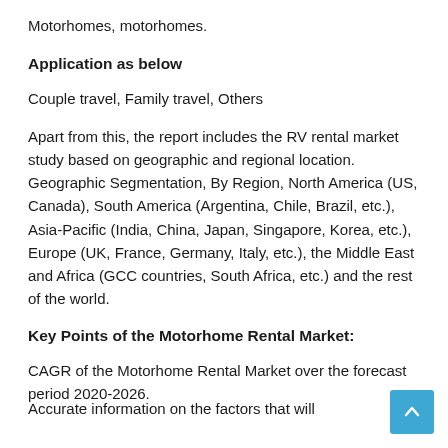Motorhomes, motorhomes.
Application as below
Couple travel, Family travel, Others
Apart from this, the report includes the RV rental market study based on geographic and regional location. Geographic Segmentation, By Region, North America (US, Canada), South America (Argentina, Chile, Brazil, etc.), Asia-Pacific (India, China, Japan, Singapore, Korea, etc.), Europe (UK, France, Germany, Italy, etc.), the Middle East and Africa (GCC countries, South Africa, etc.) and the rest of the world.
Key Points of the Motorhome Rental Market:
CAGR of the Motorhome Rental Market over the forecast period 2020-2026.
Accurate information on the factors that will contribute to the